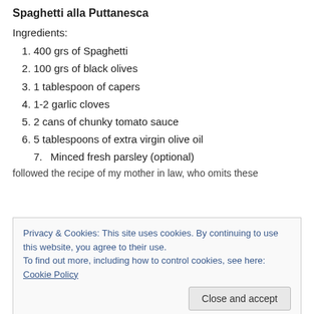Spaghetti alla Puttanesca
Ingredients:
400 grs of Spaghetti
100 grs of black olives
1 tablespoon of capers
1-2 garlic cloves
2 cans of chunky tomato sauce
5 tablespoons of extra virgin olive oil
Minced fresh parsley (optional)
Privacy & Cookies: This site uses cookies. By continuing to use this website, you agree to their use.
To find out more, including how to control cookies, see here: Cookie Policy
followed the recipe of my mother in law, who omits these